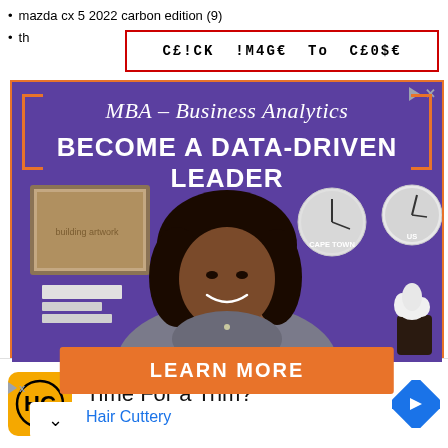mazda cx 5 2022 carbon edition (9)
th    C£!CK !M4G€ To C£0$€
[Figure (photo): Advertisement banner for MBA – Business Analytics program showing 'BECOME A DATA-DRIVEN LEADER' with a smiling woman in a professional setting and a 'LEARN MORE' button. Orange brackets frame the top text. Purple background.]
[Figure (infographic): Hair Cuttery advertisement with yellow HC logo, text 'Time For a Trim?' and 'Hair Cuttery' with a navigation arrow icon.]